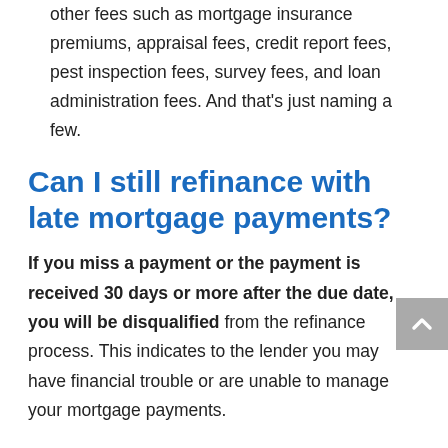other fees such as mortgage insurance premiums, appraisal fees, credit report fees, pest inspection fees, survey fees, and loan administration fees. And that's just naming a few.
Can I still refinance with late mortgage payments?
If you miss a payment or the payment is received 30 days or more after the due date, you will be disqualified from the refinance process. This indicates to the lender you may have financial trouble or are unable to manage your mortgage payments.